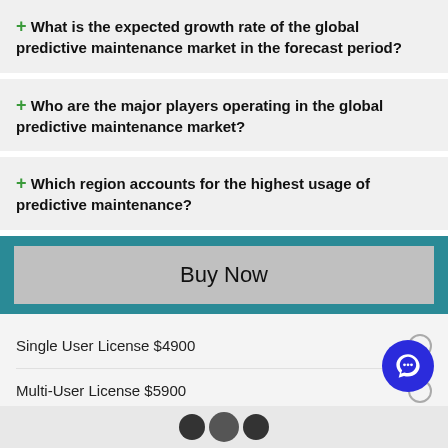+ What is the expected growth rate of the global predictive maintenance market in the forecast period?
+ Who are the major players operating in the global predictive maintenance market?
+ Which region accounts for the highest usage of predictive maintenance?
Buy Now
Single User License $4900
Multi-User License $5900
Custom Research License $8900